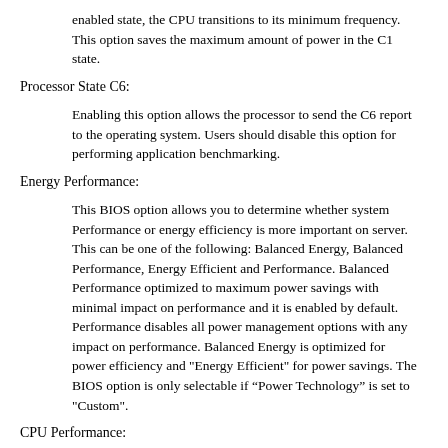enabled state, the CPU transitions to its minimum frequency. This option saves the maximum amount of power in the C1 state.
Processor State C6:
Enabling this option allows the processor to send the C6 report to the operating system. Users should disable this option for performing application benchmarking.
Energy Performance:
This BIOS option allows you to determine whether system Performance or energy efficiency is more important on server. This can be one of the following: Balanced Energy, Balanced Performance, Energy Efficient and Performance. Balanced Performance optimized to maximum power savings with minimal impact on performance and it is enabled by default. Performance disables all power management options with any impact on performance. Balanced Energy is optimized for power efficiency and "Energy Efficient" for power savings. The BIOS option is only selectable if “Power Technology” is set to "Custom".
CPU Performance: